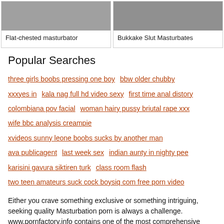[Figure (photo): Two side-by-side thumbnail images, left showing a person, right showing a person]
Flat-chested masturbator
Bukkake Slut Masturbates
Popular Searches
three girls boobs pressing one boy
bbw older chubby
xxxyes in
kala nag full hd video sexy
first time anal distory
colombiana pov facial
woman hairy pussy briutal rape xxx
wife bbc analysis creampie
xvideos sunny leone boobs sucks by another man
ava publicagent
last week sex
indian aunty in nighty pee
karisini gavura siktiren turk
class room flash
two teen amateurs suck cock boysiq com free porn video
Either you crave something exclusive or something intriguing, seeking quality Masturbation porn is always a challenge. www.pornfactory.info contains one of the most comprehensive